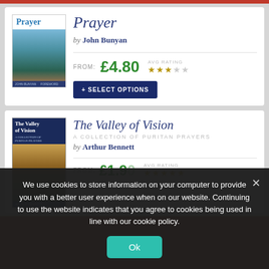[Figure (screenshot): Book listing page showing two books: 'Prayer' by John Bunyan priced from £4.80 with avg rating and select options button, and 'The Valley of Vision: A Collection of Puritan Prayers' by Arthur Bennett, partially visible with price and rating. A cookie consent overlay is shown at the bottom.]
Prayer
by John Bunyan
FROM: £4.80  AVG RATING ★★★☆☆
+ SELECT OPTIONS
The Valley of Vision
A COLLECTION OF PURITAN PRAYERS
by Arthur Bennett
We use cookies to store information on your computer to provide you with a better user experience when on our website. Continuing to use the website indicates that you agree to cookies being used in line with our cookie policy.
Ok